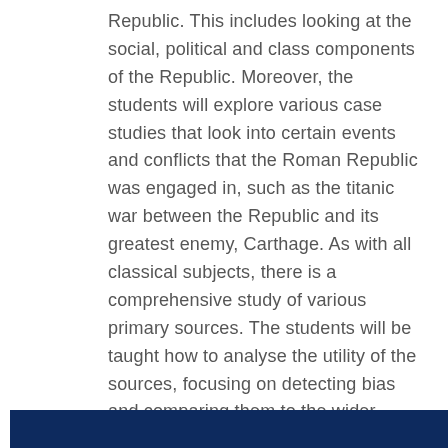Republic. This includes looking at the social, political and class components of the Republic. Moreover, the students will explore various case studies that look into certain events and conflicts that the Roman Republic was engaged in, such as the titanic war between the Republic and its greatest enemy, Carthage. As with all classical subjects, there is a comprehensive study of various primary sources. The students will be taught how to analyse the utility of the sources, focusing on detecting bias and comparing them to the wider historical context.